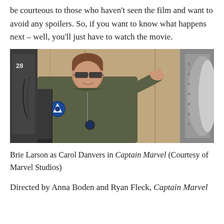be courteous to those who haven't seen the film and want to avoid any spoilers. So, if you want to know what happens next – well, you'll just have to watch the movie.
[Figure (photo): Brie Larson as Carol Danvers in a military flight suit with sunglasses, seated in the cockpit of a military jet aircraft, giving a finger-gun gesture. She wears a flight suit with patches. The background shows a military hangar/aircraft structure.]
Brie Larson as Carol Danvers in Captain Marvel (Courtesy of Marvel Studios)
Directed by Anna Boden and Ryan Fleck, Captain Marvel